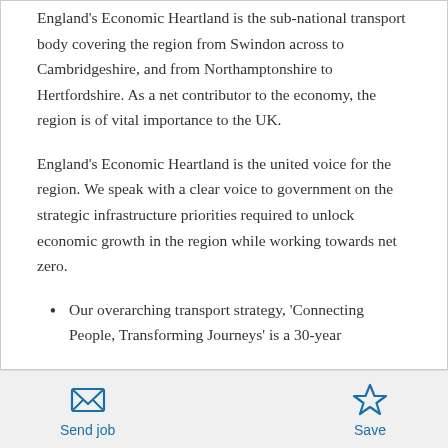England's Economic Heartland is the sub-national transport body covering the region from Swindon across to Cambridgeshire, and from Northamptonshire to Hertfordshire. As a net contributor to the economy, the region is of vital importance to the UK.
England's Economic Heartland is the united voice for the region. We speak with a clear voice to government on the strategic infrastructure priorities required to unlock economic growth in the region while working towards net zero.
Our overarching transport strategy, 'Connecting People, Transforming Journeys' is a 30-year...
Send job | Save